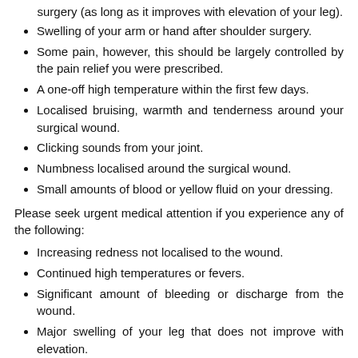surgery (as long as it improves with elevation of your leg).
Swelling of your arm or hand after shoulder surgery.
Some pain, however, this should be largely controlled by the pain relief you were prescribed.
A one-off high temperature within the first few days.
Localised bruising, warmth and tenderness around your surgical wound.
Clicking sounds from your joint.
Numbness localised around the surgical wound.
Small amounts of blood or yellow fluid on your dressing.
Please seek urgent medical attention if you experience any of the following:
Increasing redness not localised to the wound.
Continued high temperatures or fevers.
Significant amount of bleeding or discharge from the wound.
Major swelling of your leg that does not improve with elevation.